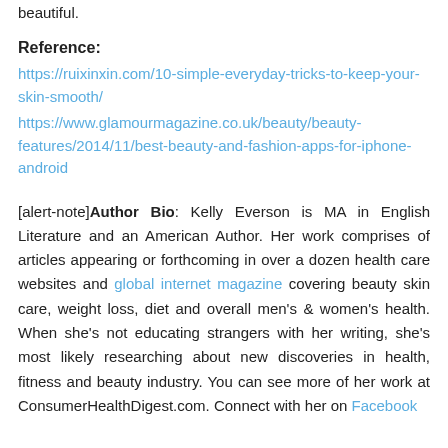beautiful.
Reference:
https://ruixinxin.com/10-simple-everyday-tricks-to-keep-your-skin-smooth/
https://www.glamourmagazine.co.uk/beauty/beauty-features/2014/11/best-beauty-and-fashion-apps-for-iphone-android
[alert-note]Author Bio: Kelly Everson is MA in English Literature and an American Author. Her work comprises of articles appearing or forthcoming in over a dozen health care websites and global internet magazine covering beauty skin care, weight loss, diet and overall men's & women's health. When she's not educating strangers with her writing, she's most likely researching about new discoveries in health, fitness and beauty industry. You can see more of her work at ConsumerHealthDigest.com. Connect with her on Facebook